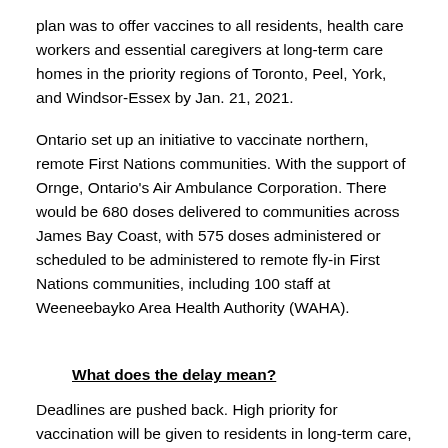plan was to offer vaccines to all residents, health care workers and essential caregivers at long-term care homes in the priority regions of Toronto, Peel, York, and Windsor-Essex by Jan. 21, 2021.
Ontario set up an initiative to vaccinate northern, remote First Nations communities. With the support of Ornge, Ontario's Air Ambulance Corporation. There would be 680 doses delivered to communities across James Bay Coast, with 575 doses administered or scheduled to be administered to remote fly-in First Nations communities, including 100 staff at Weeneebayko Area Health Authority (WAHA).
What does the delay mean?
Deadlines are pushed back. High priority for vaccination will be given to residents in long-term care, high-risk retirement, and First Nations elder care homes by a new target date of February 5, 2021. This means people who were scheduled to receive their dose of the vaccine before the shipment delay has to reschedule